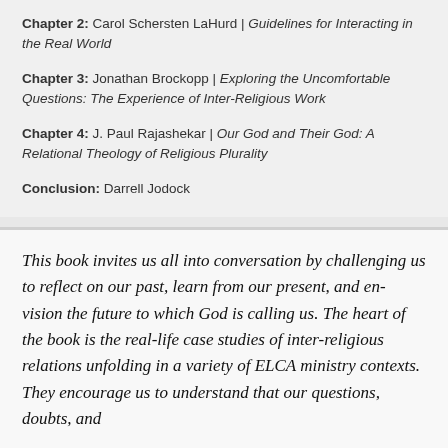Chapter 2: Carol Schersten LaHurd | Guidelines for Interacting in the Real World
Chapter 3: Jonathan Brockopp | Exploring the Uncomfortable Questions: The Experience of Inter-Religious Work
Chapter 4: J. Paul Rajashekar | Our God and Their God: A Relational Theology of Religious Plurality
Conclusion: Darrell Jodock
This book invites us all into conversation by challenging us to reflect on our past, learn from our present, and en-vision the future to which God is calling us. The heart of the book is the real-life case studies of inter-religious relations unfolding in a variety of ELCA ministry contexts. They encourage us to understand that our questions, doubts, and